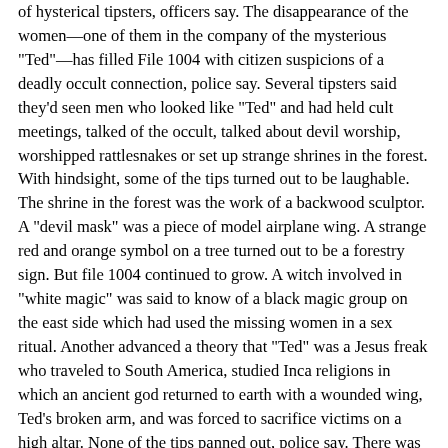of hysterical tipsters, officers say. The disappearance of the women—one of them in the company of the mysterious "Ted"—has filled File 1004 with citizen suspicions of a deadly occult connection, police say. Several tipsters said they'd seen men who looked like "Ted" and had held cult meetings, talked of the occult, talked about devil worship, worshipped rattlesnakes or set up strange shrines in the forest. With hindsight, some of the tips turned out to be laughable. The shrine in the forest was the work of a backwood sculptor. A "devil mask" was a piece of model airplane wing. A strange red and orange symbol on a tree turned out to be a forestry sign. But file 1004 continued to grow. A witch involved in "white magic" was said to know of a black magic group on the east side which had used the missing women in a sex ritual. Another advanced a theory that "Ted" was a Jesus freak who traveled to South America, studied Inca religions in which an ancient god returned to earth with a wounded wing, Ted's broken arm, and was forced to sacrifice victims on a high altar. None of the tips panned out, police say. There was a haunting resemblance between several of the missing women, whose photos revealed them as having long hair, parted in the middle. Some said they looked like sisters. Could they have been hand-picked for ritual death? And why,